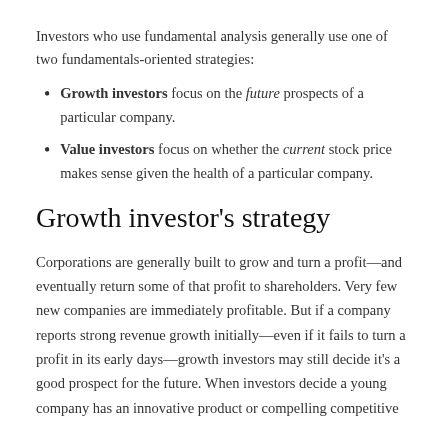Investors who use fundamental analysis generally use one of two fundamentals-oriented strategies:
Growth investors focus on the future prospects of a particular company.
Value investors focus on whether the current stock price makes sense given the health of a particular company.
Growth investor's strategy
Corporations are generally built to grow and turn a profit—and eventually return some of that profit to shareholders. Very few new companies are immediately profitable. But if a company reports strong revenue growth initially—even if it fails to turn a profit in its early days—growth investors may still decide it's a good prospect for the future. When investors decide a young company has an innovative product or compelling competitive advantage, they may start buying the stock. Let alone. The